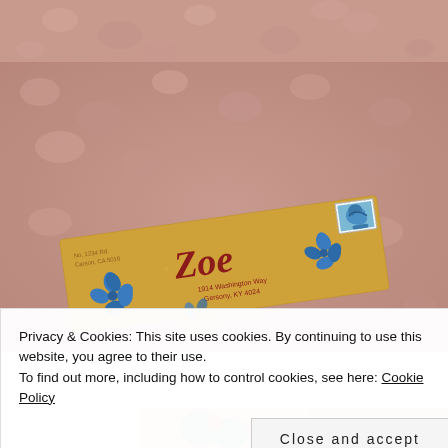[Figure (photo): Top partial view of a pink fluffy/sherpa textured fabric surface, cropped at top of page.]
[Figure (photo): Main photo: A kraft paper envelope addressed to 'Zoe' with blue painted flower decorations and a bird postage stamp, resting on pink fluffy sherpa fabric. The envelope has handwritten return address and delivery address in red ink.]
Privacy & Cookies: This site uses cookies. By continuing to use this website, you agree to their use.
To find out more, including how to control cookies, see here: Cookie Policy
[Figure (photo): Bottom partial strip of another image showing colorful floral or decorative pattern, cropped at bottom of page.]